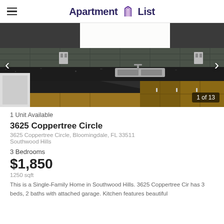Apartment List
[Figure (photo): Kitchen interior showing granite countertops, dark tile backsplash, stainless steel sink, and wooden cabinets. Image counter shows 1 of 13.]
1 Unit Available
3625 Coppertree Circle
3625 Coppertree Circle, Bloomingdale, FL 33511
Southwood Hills
3 Bedrooms
$1,850
1250 sqft
This is a Single-Family Home in Southwood Hills. 3625 Coppertree Cir has 3 beds, 2 baths with attached garage. Kitchen features beautiful